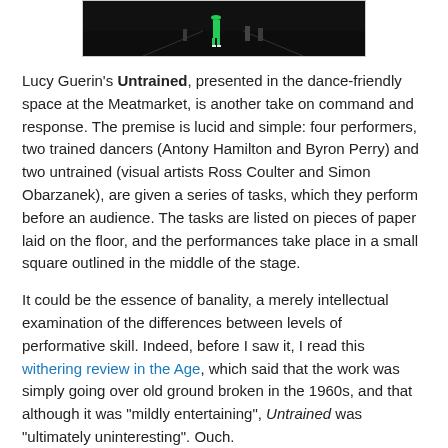[Figure (photo): A dark stage photo showing a performer in green outfit, with other figures in the background on a dark stage.]
Lucy Guerin's Untrained, presented in the dance-friendly space at the Meatmarket, is another take on command and response. The premise is lucid and simple: four performers, two trained dancers (Antony Hamilton and Byron Perry) and two untrained (visual artists Ross Coulter and Simon Obarzanek), are given a series of tasks, which they perform before an audience. The tasks are listed on pieces of paper laid on the floor, and the performances take place in a small square outlined in the middle of the stage.
It could be the essence of banality, a merely intellectual examination of the differences between levels of performative skill. Indeed, before I saw it, I read this withering review in the Age, which said that the work was simply going over old ground broken in the 1960s, and that although it was "mildly entertaining", Untrained was "ultimately uninteresting". Ouch.
After I had seen the show, this struck me as a rather